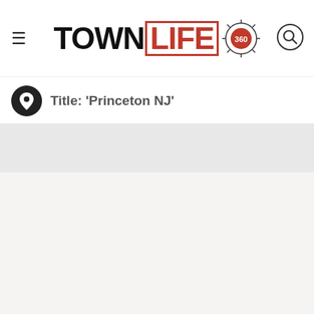TOWN LIFE 360
Title: 'Princeton NJ'